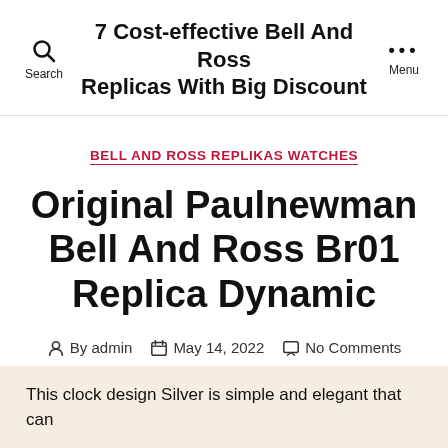7 Cost-effective Bell And Ross Replicas With Big Discount
BELL AND ROSS REPLIKAS WATCHES
Original Paulnewman Bell And Ross Br01 Replica Dynamic
By admin   May 14, 2022   No Comments
This clock design Silver is simple and elegant that can